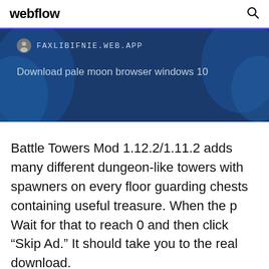webflow
[Figure (screenshot): Dark blue banner showing a URL bar with icon and text 'FAXLIBIFNIE.WEB.APP', and subtitle 'Download pale moon browser windows 10']
Battle Towers Mod 1.12.2/1.11.2 adds many different dungeon-like towers with spawners on every floor guarding chests containing useful treasure. When the p Wait for that to reach 0 and then click “Skip Ad.” It should take you to the real download.